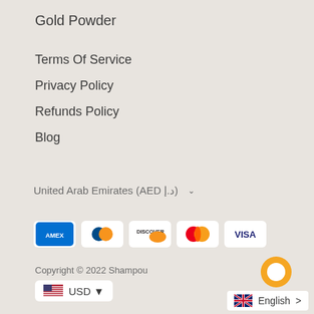Gold Powder
Terms Of Service
Privacy Policy
Refunds Policy
Blog
United Arab Emirates (AED د.إ) ∨
[Figure (logo): Payment method icons: American Express, Diners Club, Discover, Mastercard, Visa]
Copyright © 2022 Shampou
USD ▾
English >